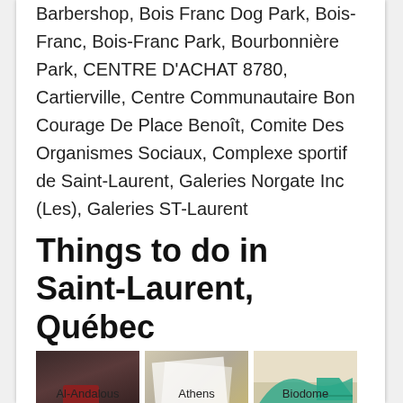Barbershop, Bois Franc Dog Park, Bois-Franc, Bois-Franc Park, Bourbonnière Park, CENTRE D'ACHAT 8780, Cartierville, Centre Communautaire Bon Courage De Place Benoît, Comite Des Organismes Sociaux, Complexe sportif de Saint-Laurent, Galeries Norgate Inc (Les), Galeries ST-Laurent
Things to do in Saint-Laurent, Québec
[Figure (photo): Photo of Al-Andalous, appears to be a gym or fitness space interior with dark walls and red equipment]
[Figure (photo): Photo of Athens, appears to show documents or papers with text]
[Figure (photo): Photo of Biodome, shows a sign with 165M and 45, with teal/green graphic]
Al-Andalous
Athens
Biodome